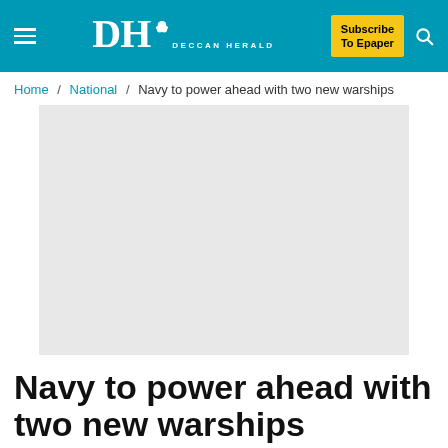Deccan Herald — Subscribe To Epaper
Home / National / Navy to power ahead with two new warships
[Figure (photo): Placeholder image area (light grey rectangle) for a warship photo]
Navy to power ahead with two new warships